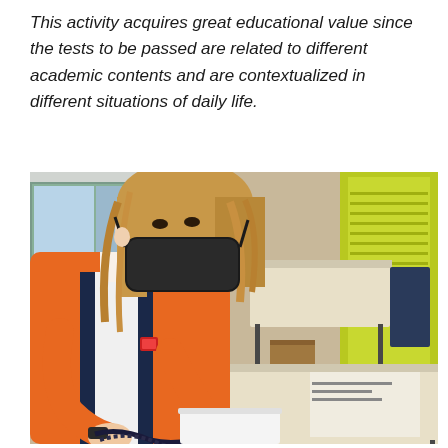This activity acquires great educational value since the tests to be passed are related to different academic contents and are contextualized in different situations of daily life.
[Figure (photo): A student wearing an orange jacket and black face mask leans over a desk, working with cables and a white box in a classroom setting. Other desks and a chalkboard are visible in the background.]